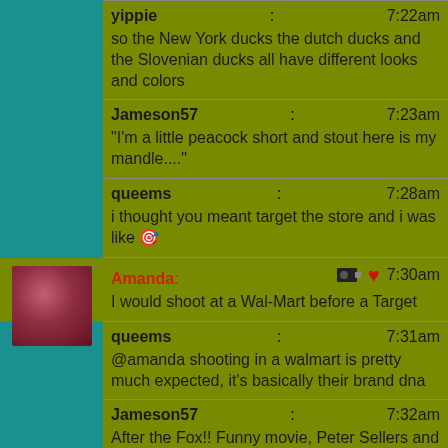yippie: 7:22am
so the New York ducks the dutch ducks and the Slovenian ducks all have different looks and colors
Jameson57: 7:23am
"I'm a little peacock short and stout here is my mandle...."
queems: 7:28am
i thought you meant target the store and i was like 🏹
Amanda: 7:30am
I would shoot at a Wal-Mart before a Target
queems: 7:31am
@amanda shooting in a walmart is pretty much expected, it's basically their brand dna
Jameson57: 7:32am
After the Fox!! Funny movie, Peter Sellers and his co-star Gina Romantica
yippie: 7:32am
shoot some video right?